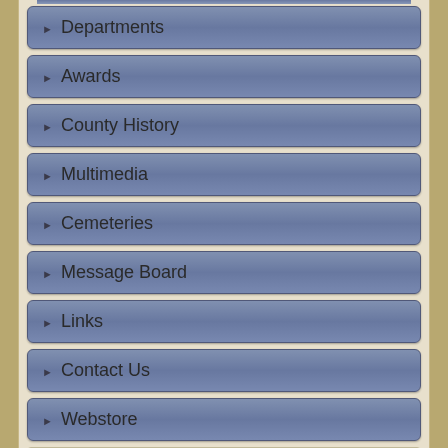Departments
Awards
County History
Multimedia
Cemeteries
Message Board
Links
Contact Us
Webstore
You are here: Home
charter
Search
Total: 11 results found.
Search for: